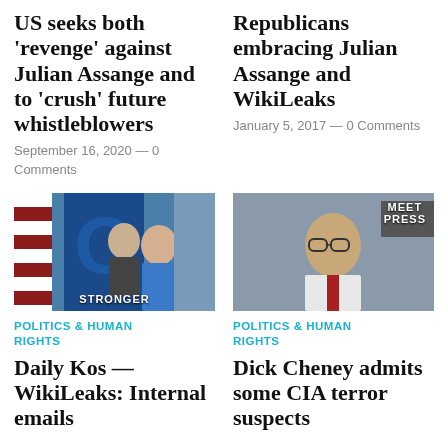US seeks both ‘revenge’ against Julian Assange and to ‘crush’ future whistleblowers
September 16, 2020 — 0 Comments
Republicans embracing Julian Assange and WikiLeaks
January 5, 2017 — 0 Comments
[Figure (photo): Photo of Bernie Sanders and Hillary Clinton at a campaign event with STRONGER banner]
POLITICS & HUMAN RIGHTS
Daily Kos — WikiLeaks: Internal emails
[Figure (photo): Photo of Dick Cheney on Meet the Press]
POLITICS & HUMAN RIGHTS
Dick Cheney admits some CIA terror suspects